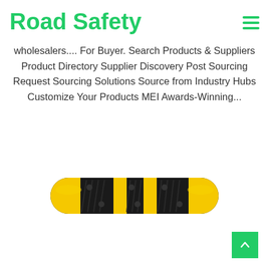Road Safety
wholesalers.... For Buyer. Search Products & Suppliers Product Directory Supplier Discovery Post Sourcing Request Sourcing Solutions Source from Industry Hubs Customize Your Products MEI Awards-Winning...
[Figure (photo): Yellow and black rubber road speed bump, elongated with rounded ends and bolt holes]
[Figure (other): Back to top button - green square with white upward arrow]